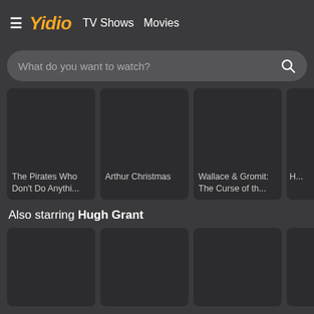Yidio — TV Shows  Movies
What do you want to watch?
[Figure (screenshot): Movie card: The Pirates Who Don't Do Anythi...]
[Figure (screenshot): Movie card: Arthur Christmas]
[Figure (screenshot): Movie card: Wallace & Gromit: The Curse of th...]
[Figure (screenshot): Movie card: partially visible fourth card]
Also starring Hugh Grant
[Figure (screenshot): Movie card placeholder (bottom row, card 1)]
[Figure (screenshot): Movie card placeholder (bottom row, card 2)]
[Figure (screenshot): Movie card placeholder (bottom row, card 3)]
[Figure (screenshot): Movie card placeholder (bottom row, card 4, partial)]